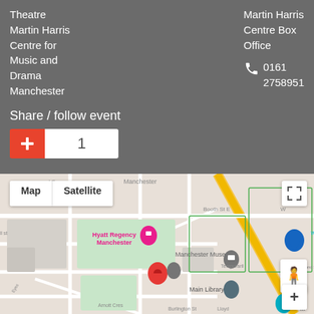Theatre Martin Harris Centre for Music and Drama Manchester
Martin Harris Centre Box Office
0161 2758951
Share / follow event
[Figure (screenshot): Google Maps showing location near Manchester Museum, Martin Harris Centre area with red location pin, Map/Satellite toggle, pegman and zoom controls]
Map | Satellite